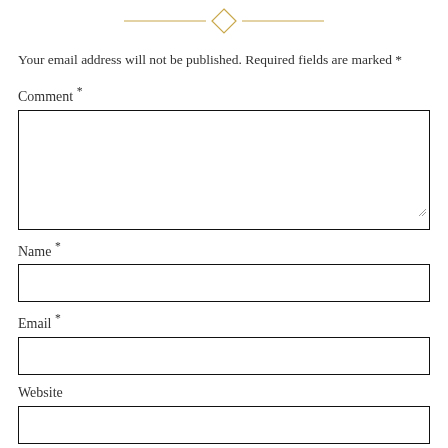[Figure (illustration): Decorative horizontal divider with a diamond/rhombus shape in the center and horizontal gold lines extending to either side]
Your email address will not be published. Required fields are marked *
Comment *
[Figure (other): Comment text area input box]
Name *
[Figure (other): Name text input box]
Email *
[Figure (other): Email text input box]
Website
[Figure (other): Website text input box]
Save my name, email, and website in this browser for